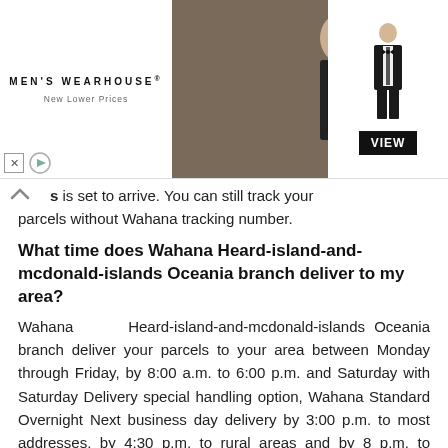[Figure (screenshot): Men's Wearhouse advertisement banner with logo on left, photo of couple in formal wear in center, man in tuxedo with VIEW button on right]
s is set to arrive. You can still track your parcels without Wahana tracking number.
What time does Wahana Heard-island-and-mcdonald-islands Oceania branch deliver to my area?
Wahana Heard-island-and-mcdonald-islands Oceania branch deliver your parcels to your area between Monday through Friday, by 8:00 a.m. to 6:00 p.m. and Saturday with Saturday Delivery special handling option, Wahana Standard Overnight Next business day delivery by 3:00 p.m. to most addresses, by 4:30 p.m. to rural areas and by 8 p.m. to residences. Monday - Friday. Wahana next day air or priority Overnight Next business day delivery by 10:30 a.m. to most addresses, by noon, 4:30 p.m. or 5